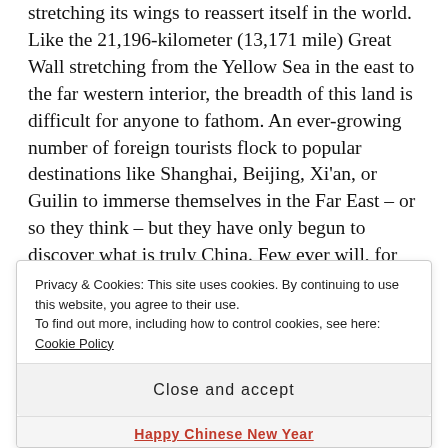stretching its wings to reassert itself in the world. Like the 21,196-kilometer (13,171 mile) Great Wall stretching from the Yellow Sea in the east to the far western interior, the breadth of this land is difficult for anyone to fathom. An ever-growing number of foreign tourists flock to popular destinations like Shanghai, Beijing, Xi'an, or Guilin to immerse themselves in the Far East – or so they think – but they have only begun to discover what is truly China. Few ever will, for this dynamic land is always on the move, heading into the future and out of reach of full comprehension.
Privacy & Cookies: This site uses cookies. By continuing to use this website, you agree to their use. To find out more, including how to control cookies, see here: Cookie Policy
Close and accept
Happy Chinese New Year